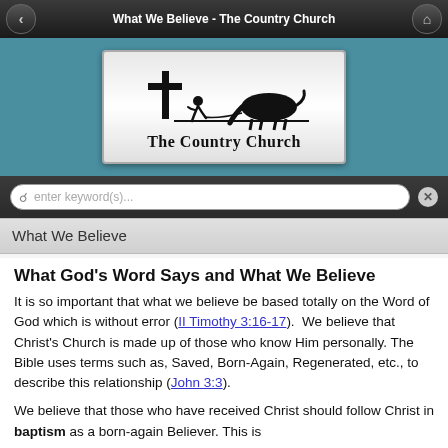What We Believe - The Country Church
[Figure (logo): The Country Church logo: silhouette of a cross, a person kneeling, and a horse grazing, with text 'The Country Church' below]
What We Believe
What God's Word Says and What We Believe
It is so important that what we believe be based totally on the Word of God which is without error (II Timothy 3:16-17).  We believe that Christ's Church is made up of those who know Him personally. The Bible uses terms such as, Saved, Born-Again, Regenerated, etc., to describe this relationship (John 3:3).
We believe that those who have received Christ should follow Christ in baptism as a born-again Believer. This is